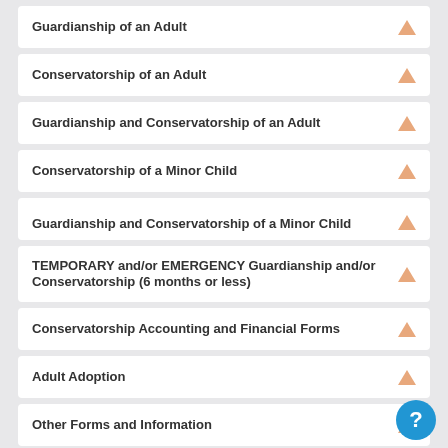Guardianship of an Adult
Conservatorship of an Adult
Guardianship and Conservatorship of an Adult
Conservatorship of a Minor Child
Guardianship and Conservatorship of a Minor Child
TEMPORARY and/or EMERGENCY Guardianship and/or Conservatorship (6 months or less)
Conservatorship Accounting and Financial Forms
Adult Adoption
Other Forms and Information
Frequently Used Forms